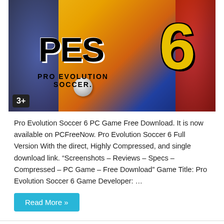[Figure (photo): Pro Evolution Soccer 6 game cover art showing PES 6 logo with the number 6 in gold, and soccer players on a yellow/blue background with 3+ age rating badge]
Pro Evolution Soccer 6 PC Game Free Download. It is now available on PCFreeNow. Pro Evolution Soccer 6 Full Version With the direct, Highly Compressed, and single download link. “Screenshots – Reviews – Specs – Compressed – PC Game – Free Download” Game Title: Pro Evolution Soccer 6 Game Developer: …
Read More »
Pro Evolution Soccer 2019
2 weeks ago   Football, Full Version Games, PC Games, Soccer, Sports